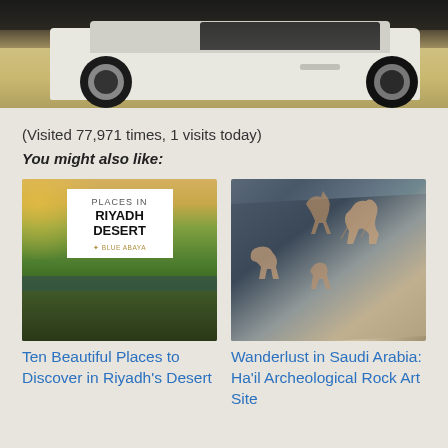[Figure (photo): Top portion of a white SUV/4WD vehicle parked in a sandy desert environment, photo cropped at top]
(Visited 77,971 times, 1 visits today)
You might also like:
[Figure (photo): Thumbnail image for article about Ten Beautiful Places to Discover in Riyadh's Desert showing water/greenery with a book cover overlay reading RIYADH DESERT by Blue Abaya]
[Figure (photo): Thumbnail image for article about Wanderlust in Saudi Arabia: Ha'il Archeological Rock Art Site showing ancient petroglyphs of animals carved on dark rock]
Ten Beautiful Places to Discover in Riyadh's Desert
Wanderlust in Saudi Arabia: Ha'il Archeological Rock Art Site